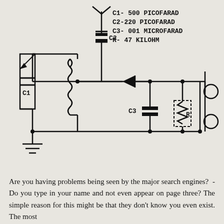[Figure (circuit-diagram): Electronic circuit diagram showing an AM crystal radio receiver with antenna, capacitors C1 (variable, 500 picofarad), C2 (220 picofarad), C3 (.001 microfarad), inductor/coil, diode, resistor R (47 kilohm), and earphone/speaker output. Component legend: C1-500 PICOFARAD, C2-220 PICOFARAD, C3-001 MICROFARAD, R-47 KILOHM.]
Are you having problems being seen by the major search engines? - Do you type in your name and not even appear on page three? The simple reason for this might be that they don't know you even exist. The most